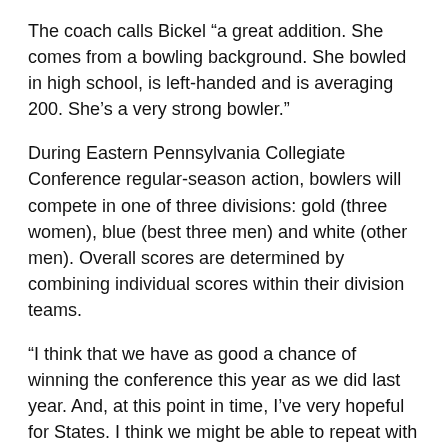The coach calls Bickel “a great addition. She comes from a bowling background. She bowled in high school, is left-handed and is averaging 200. She’s a very strong bowler.”
During Eastern Pennsylvania Collegiate Conference regular-season action, bowlers will compete in one of three divisions: gold (three women), blue (best three men) and white (other men). Overall scores are determined by combining individual scores within their division teams.
“I think that we have as good a chance of winning the conference this year as we did last year. And, at this point in time, I’ve very hopeful for States. I think we might be able to repeat with the talent that we have,” Vincenzes said.
Last season, the Wildcats won championships in four Pennsylvania Collegiate Athletic Association categories men’s singles, men’s all events, men’s team and men’s overall.